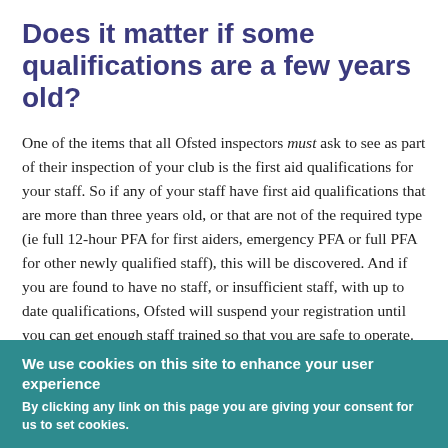Does it matter if some qualifications are a few years old?
One of the items that all Ofsted inspectors must ask to see as part of their inspection of your club is the first aid qualifications for your staff. So if any of your staff have first aid qualifications that are more than three years old, or that are not of the required type (ie full 12-hour PFA for first aiders, emergency PFA or full PFA for other newly qualified staff), this will be discovered. And if you are found to have no staff, or insufficient staff, with up to date qualifications, Ofsted will suspend your registration until you can get enough staff trained so that you are safe to operate.
We use cookies on this site to enhance your user experience
By clicking any link on this page you are giving your consent for us to set cookies.